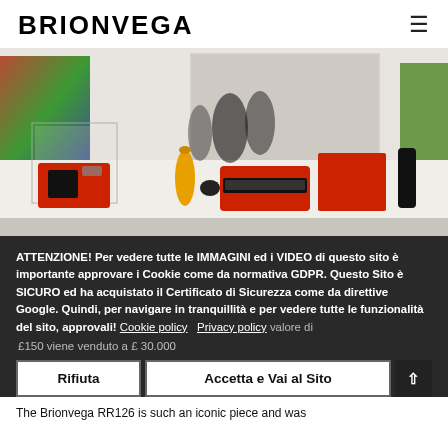BRIONVEGA
[Figure (photo): Museum/gallery display showing red vintage design objects including a typewriter, radio, and other Italian design pieces on a white table, with people in background and colorful abstract art on walls.]
ATTENZIONE! Per vedere tutte le IMMAGINI ed i VIDEO di questo sito è importante approvare i Cookie come da normativa GDPR. Questo Sito è SICURO ed ha acquistato il Certificato di Sicurezza come da direttive Google. Quindi, per navigare in tranquillità e per vedere tutte le funzionalità del sito, approvali! Cookie policy  Privacy policy valore di £150 viene venduto a £ 30.000
The Brionvega RR126 is such an iconic piece and was